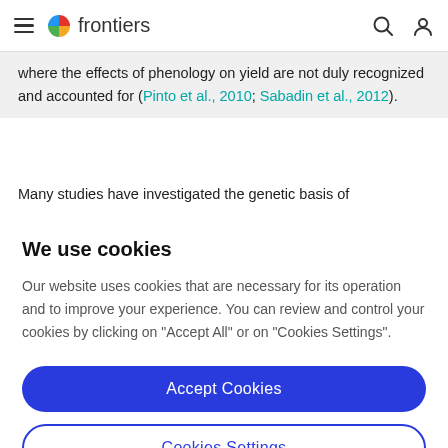frontiers
where the effects of phenology on yield are not duly recognized and accounted for (Pinto et al., 2010; Sabadin et al., 2012).
Many studies have investigated the genetic basis of
We use cookies
Our website uses cookies that are necessary for its operation and to improve your experience. You can review and control your cookies by clicking on "Accept All" or on "Cookies Settings".
Accept Cookies
Cookies Settings